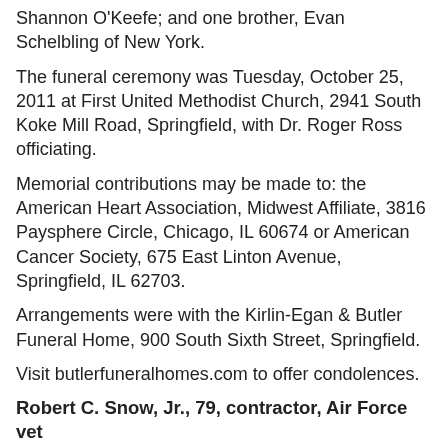Shannon O'Keefe; and one brother, Evan Schelbling of New York.
The funeral ceremony was Tuesday, October 25, 2011 at First United Methodist Church, 2941 South Koke Mill Road, Springfield, with Dr. Roger Ross officiating.
Memorial contributions may be made to: the American Heart Association, Midwest Affiliate, 3816 Paysphere Circle, Chicago, IL 60674 or American Cancer Society, 675 East Linton Avenue, Springfield, IL 62703.
Arrangements were with the Kirlin-Egan & Butler Funeral Home, 900 South Sixth Street, Springfield.
Visit butlerfuneralhomes.com to offer condolences.
Robert C. Snow, Jr., 79, contractor, Air Force vet
HUDSON—Robert C. Snow, Jr., 79, of Chatham died Sunday, October 23 at Community Hospice at Columbia Memorial Hospital.
He was born November 7, 1931 in Hillsdale, the son of the late Robert C. and Wilhelmina (VanDerBeisen) Snow, Sr.
Mr. Snow served in the U.S. Air Force and was in the